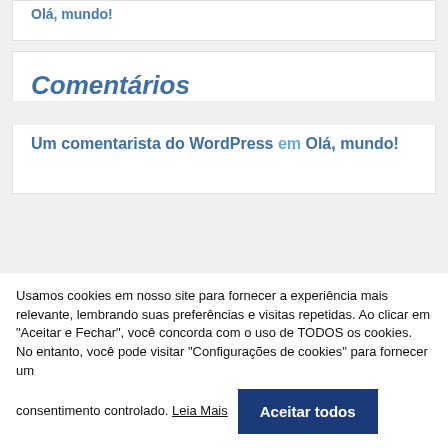Olá, mundo!
Comentários
Um comentarista do WordPress em Olá, mundo!
Usamos cookies em nosso site para fornecer a experiência mais relevante, lembrando suas preferências e visitas repetidas. Ao clicar em "Aceitar e Fechar", você concorda com o uso de TODOS os cookies. No entanto, você pode visitar "Configurações de cookies" para fornecer um consentimento controlado. Leia Mais
Aceitar todos